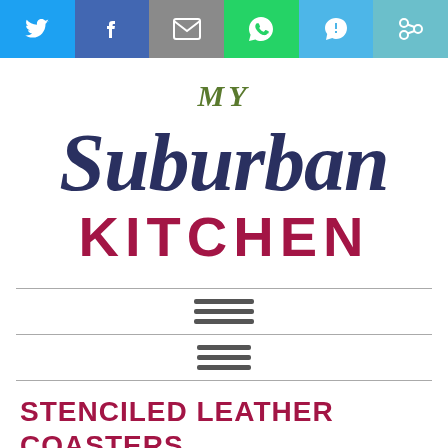[Figure (infographic): Social share bar with Twitter (blue), Facebook (dark blue), Email (gray), WhatsApp (green), SMS (light blue), and another share icon (teal) buttons]
[Figure (logo): My Suburban Kitchen logo with script font 'Suburban' in navy blue, 'MY' in olive green above, and 'KITCHEN' in bold crimson red below]
[Figure (infographic): Two hamburger/menu icons separated by horizontal divider lines]
STENCILED LEATHER COASTERS